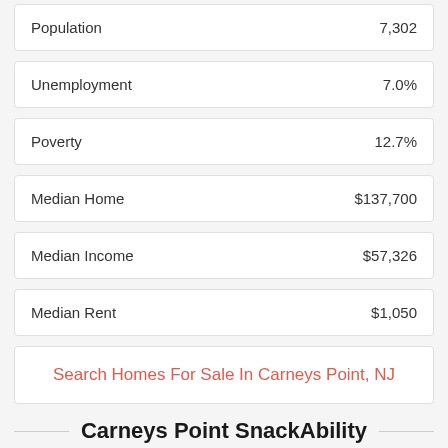| Metric | Value |
| --- | --- |
| Population | 7,302 |
| Unemployment | 7.0% |
| Poverty | 12.7% |
| Median Home | $137,700 |
| Median Income | $57,326 |
| Median Rent | $1,050 |
Search Homes For Sale In Carneys Point, NJ
Carneys Point SnackAbility
[Figure (infographic): Cyan/teal colored SnackAbility score graphic for Carneys Point]